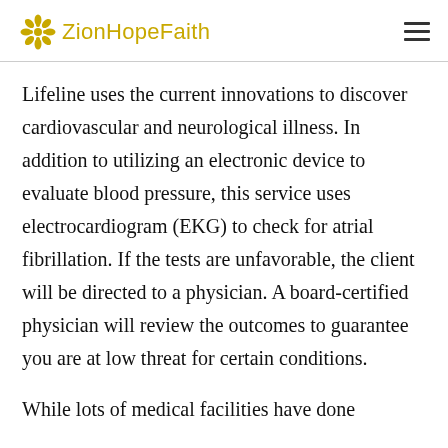ZionHopeFaith
Lifeline uses the current innovations to discover cardiovascular and neurological illness. In addition to utilizing an electronic device to evaluate blood pressure, this service uses electrocardiogram (EKG) to check for atrial fibrillation. If the tests are unfavorable, the client will be directed to a physician. A board-certified physician will review the outcomes to guarantee you are at low threat for certain conditions.
While lots of medical facilities have done